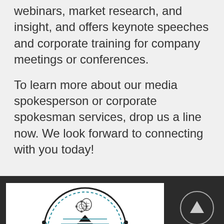webinars, market research, and insight, and offers keynote speeches and corporate training for company meetings or conferences.
To learn more about our media spokesperson or corporate spokesman services, drop us a line now. We look forward to connecting with you today!
[Figure (logo): Circular logo with a brain/gear icon at top, a downward-pointing triangle with horizontal lines in the center, connected dots forming a network pattern, and small icons on the sides, all enclosed in a circle with dashed teal border.]